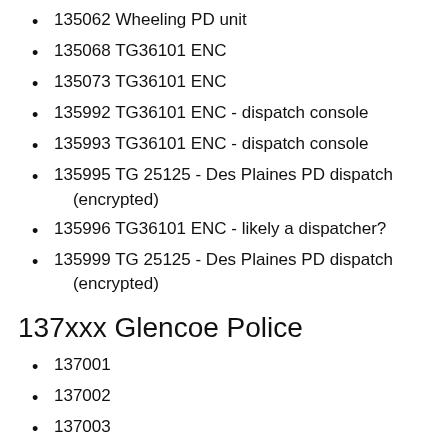135062 Wheeling PD unit
135068 TG36101 ENC
135073 TG36101 ENC
135992 TG36101 ENC - dispatch console
135993 TG36101 ENC - dispatch console
135995 TG 25125 - Des Plaines PD dispatch (encrypted)
135996 TG36101 ENC - likely a dispatcher?
135999 TG 25125 - Des Plaines PD dispatch (encrypted)
137xxx Glencoe Police
137001
137002
137003
137004
137005
137007